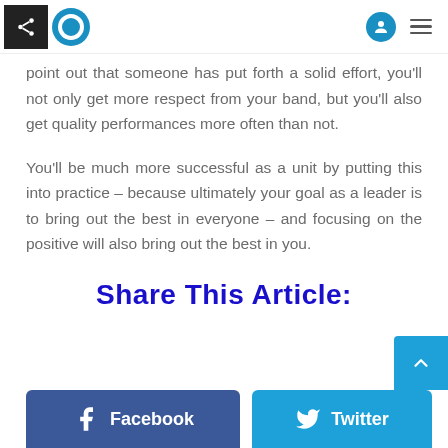[Navigation header with share icon, logo, user icon, and menu]
point out that someone has put forth a solid effort, you'll not only get more respect from your band, but you'll also get quality performances more often than not.
You'll be much more successful as a unit by putting this into practice – because ultimately your goal as a leader is to bring out the best in everyone – and focusing on the positive will also bring out the best in you.
Share This Article:
[Figure (other): Facebook share button (dark blue) and Twitter share button (light blue) at bottom of page, with scroll-to-top arrow button]